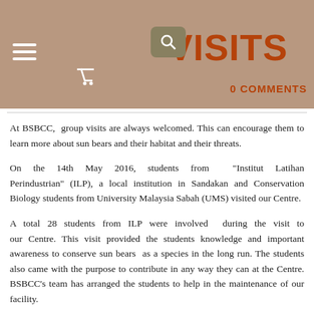GROUP VISITS
0 COMMENTS
At BSBCC, group visits are always welcomed. This can encourage them to learn more about sun bears and their habitat and their threats.
On the 14th May 2016, students from "Institut Latihan Perindustrian" (ILP), a local institution in Sandakan and Conservation Biology students from University Malaysia Sabah (UMS) visited our Centre.
A total 28 students from ILP were involved during the visit to our Centre. This visit provided the students knowledge and important awareness to conserve sun bears as a species in the long run. The students also came with the purpose to contribute in any way they can at the Centre. BSBCC's team has arranged the students to help in the maintenance of our facility.